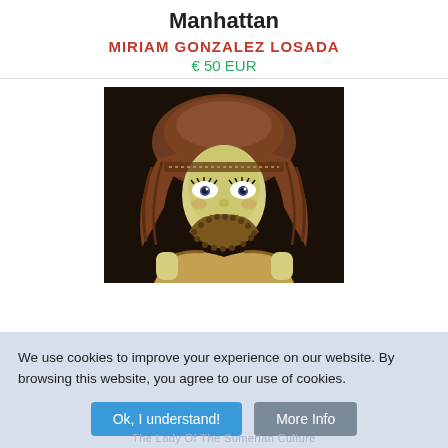Manhattan
MIRIAM GONZALEZ LOSADA
€ 50 EUR
[Figure (illustration): Painting of a stylized female figure with brown wavy hair, wearing a hat, with a yellow face with expressive eyes and lips, draped in a brown/gold beaded necklace and off-shoulder earth-toned garment, on a dark background.]
We use cookies to improve your experience on our website. By browsing this website, you agree to our use of cookies.
Ok, I understand!
More Info
The Lady Of The Sumerian Culture